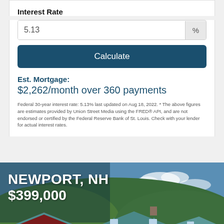Interest Rate
5.13  %
Calculate
Est. Mortgage:
$2,262/month over 360 payments
Federal 30-year interest rate: 5.13% last updated on Aug 18, 2022. * The above figures are estimates provided by Union Street Media using the FRED® API, and are not endorsed or certified by the Federal Reserve Bank of St. Louis. Check with your lender for actual interest rates.
[Figure (photo): Real estate listing photo overlay showing houses in Newport, NH with text NEWPORT, NH $399,000 over a scenic photo of red and white houses with metal roofs and green hills in background.]